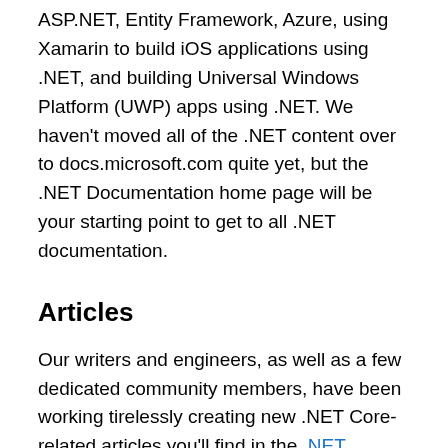ASP.NET, Entity Framework, Azure, using Xamarin to build iOS applications using .NET, and building Universal Windows Platform (UWP) apps using .NET. We haven't moved all of the .NET content over to docs.microsoft.com quite yet, but the .NET Documentation home page will be your starting point to get to all .NET documentation.
Articles
Our writers and engineers, as well as a few dedicated community members, have been working tirelessly creating new .NET Core-related articles you'll find in the .NET Documentation section. Here you'll find a range of articles like:
.NET Core Tutorials
.NET Core Application Deployment